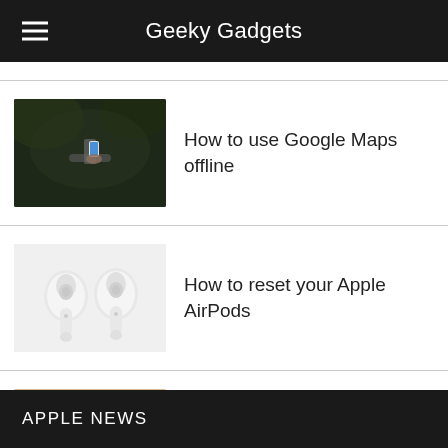Geeky Gadgets
How to use Google Maps offline
[Figure (photo): Person holding a smartphone outdoors, possibly on a bicycle]
How to reset your Apple AirPods
[Figure (photo): Apple AirPods earbuds on white background]
How to fix an iPhone black screen, that wont turn on
[Figure (photo): iPhone and keyboard on a pink/beige desk surface]
APPLE NEWS